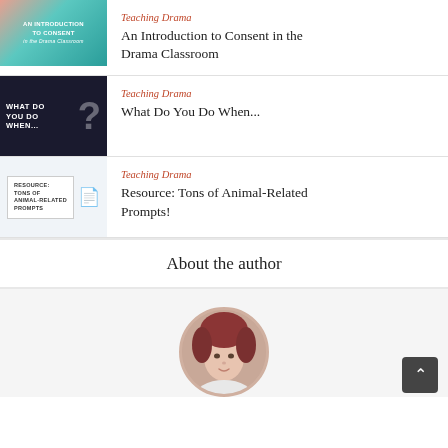[Figure (photo): Thumbnail image for 'An Introduction to Consent in the Drama Classroom' - teal background with hand graphics and text overlay]
Teaching Drama
An Introduction to Consent in the Drama Classroom
[Figure (photo): Thumbnail image for 'What Do You Do When...' - dark background with white bold text and a large question mark graphic]
Teaching Drama
What Do You Do When...
[Figure (photo): Thumbnail image for 'Resource: Tons of Animal-Related Prompts!' - light blue/white background with text in a box and stack of papers graphic]
Teaching Drama
Resource: Tons of Animal-Related Prompts!
About the author
[Figure (photo): Circular portrait photo of author - woman with reddish hair]